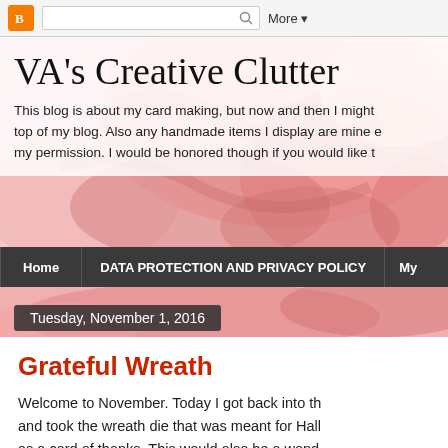Blogger navigation bar with search and More button
VA's Creative Clutter
This blog is about my card making, but now and then I might top of my blog. Also any handmade items I display are mine e my permission. I would be honored though if you would like t
Home | DATA PROTECTION AND PRIVACY POLICY | My
Tuesday, November 1, 2016
Grateful Wreath
Welcome to November. Today I got back into th and took the wreath die that was meant for Hall as a card of thanks. This would also be a wond a Thanksgiving card too. I hope you like my sim